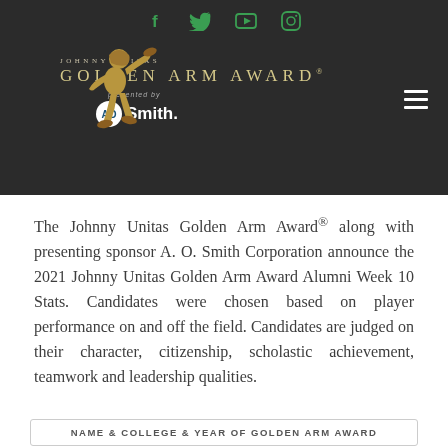Social media icons: Facebook, Twitter, YouTube, Instagram
[Figure (logo): Johnny Unitas Golden Arm Award logo with golden football player figure, presented by A.O. Smith]
The Johnny Unitas Golden Arm Award® along with presenting sponsor A. O. Smith Corporation announce the 2021 Johnny Unitas Golden Arm Award Alumni Week 10 Stats. Candidates were chosen based on player performance on and off the field. Candidates are judged on their character, citizenship, scholastic achievement, teamwork and leadership qualities.
| NAME & COLLEGE & YEAR OF GOLDEN ARM AWARD |
| --- |